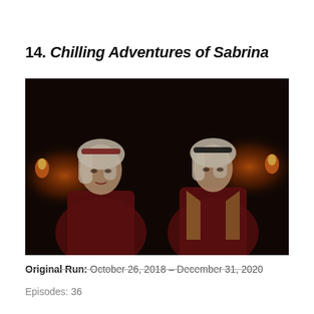14. Chilling Adventures of Sabrina
[Figure (photo): Scene from Chilling Adventures of Sabrina showing two versions of Sabrina Spellman facing each other in a dark, dimly lit setting. Both characters have blonde hair pulled back and wear dark red outfits. Warm orange torch lights glow in the background.]
Original Run: October 26, 2018 – December 31, 2020
Episodes: 36